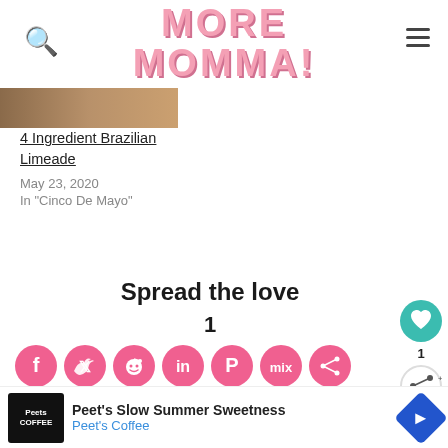MORE MOMMA!
[Figure (photo): Partial image of Brazilian Limeade thumbnail, cropped at top]
4 Ingredient Brazilian Limeade
May 23, 2020
In "Cinco De Mayo"
Spread the love
1
[Figure (infographic): Social sharing icons row: Facebook, Twitter, Reddit, LinkedIn, Pinterest, Mix, Share — all pink circles]
[Figure (infographic): Floating sidebar: teal heart button, share button with count 1, Share label]
[Figure (infographic): Advertisement bar at bottom: Peet's Coffee - Peet's Slow Summer Sweetness]